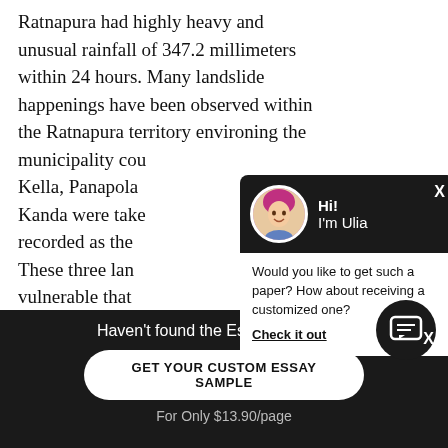Ratnapura had highly heavy and unusual rainfall of 347.2 millimeters within 24 hours. Many landslide happenings have been observed within the Ratnapura territory environing the municipality cou... Kella, Panapola... Kanda were take... recorded as the... These three lan... vulnerable that ... recorded since h... catastrophe rea...
[Figure (other): Chat popup overlay with avatar of a woman with pink hair (Hi! I'm Ulia), and message: 'Would you like to get such a paper? How about receiving a customized one? Check it out']
Haven't found the Essay You Want?
GET YOUR CUSTOM ESSAY SAMPLE
For Only $13.90/page